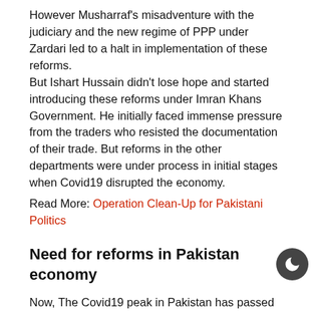However Musharraf's misadventure with the judiciary and the new regime of PPP under Zardari led to a halt in implementation of these reforms.
But Ishart Hussain didn't lose hope and started introducing these reforms under Imran Khans Government. He initially faced immense pressure from the traders who resisted the documentation of their trade. But reforms in the other departments were under process in initial stages when Covid19 disrupted the economy.
Read More: Operation Clean-Up for Pakistani Politics
Need for reforms in Pakistan economy
Now, The Covid19 peak in Pakistan has passed and it is the need of the hour that all reforms must be implemented in letter and spirit by the government without paying any heed to the opposers of the change. The cartels need to be dismantled if we want to progress and stand in the queue of developed nations. Without reforms we will be again on one-